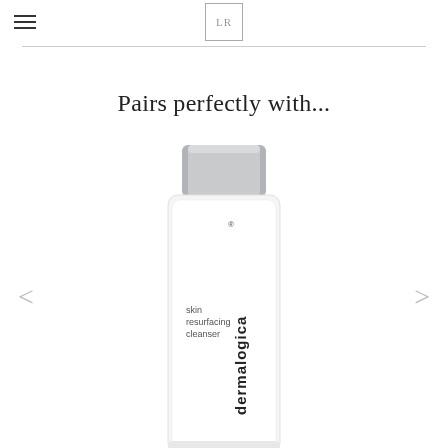[Figure (logo): Navigation header with hamburger menu icon on the left and LR logo in a square box in the center]
Pairs perfectly with...
[Figure (photo): Dermalogica skin resurfacing cleanser product bottle, white with silver cap, with text 'skin resurfacing cleanser' and 'dermalogica' brand name running vertically]